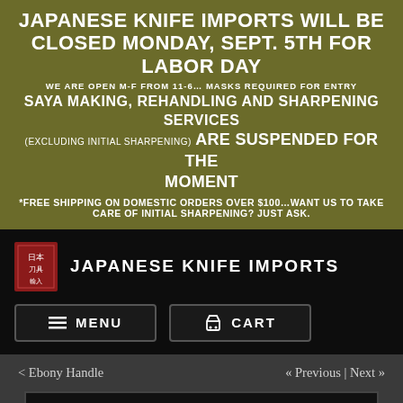JAPANESE KNIFE IMPORTS WILL BE CLOSED MONDAY, SEPT. 5TH FOR LABOR DAY
WE ARE OPEN M-F FROM 11-6… MASKS REQUIRED FOR ENTRY
SAYA MAKING, REHANDLING AND SHARPENING SERVICES (EXCLUDING INITIAL SHARPENING) ARE SUSPENDED FOR THE MOMENT
*FREE SHIPPING ON DOMESTIC ORDERS OVER $100…WANT US TO TAKE CARE OF INITIAL SHARPENING? JUST ASK.
[Figure (logo): Japanese Knife Imports logo: red square seal with Japanese characters and text JAPANESE KNIFE IMPORTS]
MENU
CART
< Ebony Handle
« Previous | Next »
[Figure (photo): Product photo of a Japanese knife with dark handle on a brown/red background, displayed in a black-bordered box]